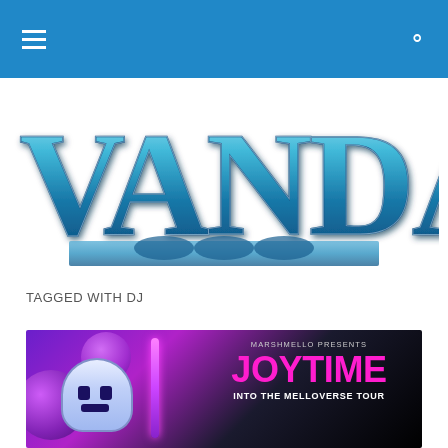Navigation bar with hamburger menu and search icon
[Figure (logo): VANDALA magazine logo in metallic teal 3D lettering with decorative elements below]
TAGGED WITH DJ
[Figure (photo): Marshmello Joytime Into The Melloverse Tour promotional image with Marshmello character in helmet against purple/pink neon background with text MARSHMELLO PRESENTS JOYTIME INTO THE MELLOVERSE TOUR in pink and white]